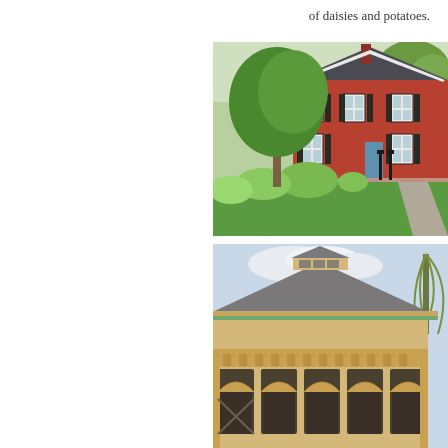of daisies and potatoes.
[Figure (photo): A red colonial-style two-storey brick house with black shutters and a blue door, surrounded by lush green landscaping, flowering shrubs, and a large tree in the foreground. A paved driveway is visible on the right.]
[Figure (photo): Close-up view of the roofline and upper facade of a yellow/tan wooden building with decorative arched openings along the bottom, a cupola on the roof, and a willow tree visible in the background.]